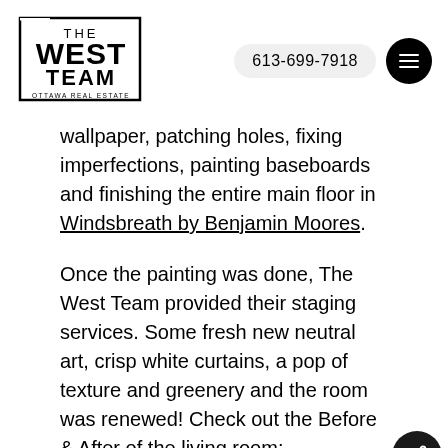[Figure (logo): The West Team Ottawa Real Estate logo with rectangular border]
613-699-7918
wallpaper, patching holes, fixing imperfections, painting baseboards and finishing the entire main floor in Windsbreath by Benjamin Moores.
Once the painting was done, The West Team provided their staging services. Some fresh new neutral art, crisp white curtains, a pop of texture and greenery and the room was renewed! Check out the Before & After of the living room:
BEFORE